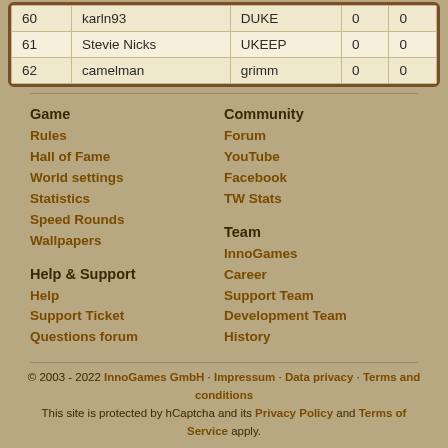|  |  |  |  |  |
| --- | --- | --- | --- | --- |
| 60 | karln93 | DUKE | 0 | 0 |
| 61 | Stevie Nicks | UKEEP | 0 | 0 |
| 62 | camelman | grimm | 0 | 0 |
Game
Rules
Hall of Fame
World settings
Statistics
Speed Rounds
Wallpapers
Community
Forum
YouTube
Facebook
TW Stats
Help & Support
Help
Support Ticket
Questions forum
Team
InnoGames
Career
Support Team
Development Team
History
© 2003 - 2022 InnoGames GmbH · Impressum · Data privacy · Terms and conditions
This site is protected by hCaptcha and its Privacy Policy and Terms of Service apply.